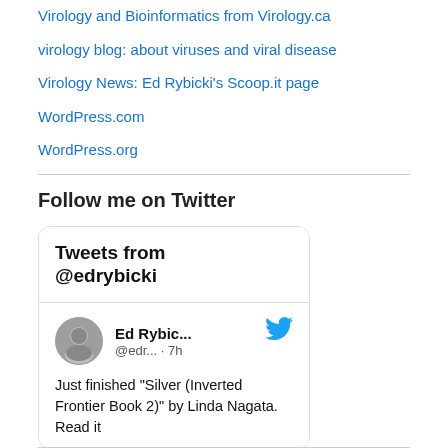Virology and Bioinformatics from Virology.ca
virology blog: about viruses and viral disease
Virology News: Ed Rybicki's Scoop.it page
WordPress.com
WordPress.org
Follow me on Twitter
[Figure (screenshot): Twitter widget showing 'Tweets from @edrybicki' header and a tweet from Ed Rybic... @edr... · 7h: Just finished "Silver (Inverted Frontier Book 2)" by Linda Nagata. Read it]